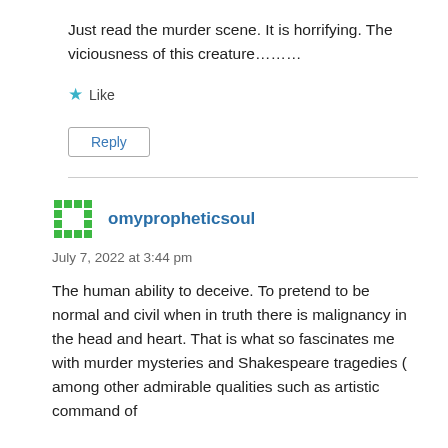Just read the murder scene. It is horrifying. The viciousness of this creature………
★ Like
Reply
omypropheticsoul
July 7, 2022 at 3:44 pm
The human ability to deceive. To pretend to be normal and civil when in truth there is malignancy in the head and heart. That is what so fascinates me with murder mysteries and Shakespeare tragedies ( among other admirable qualities such as artistic command of